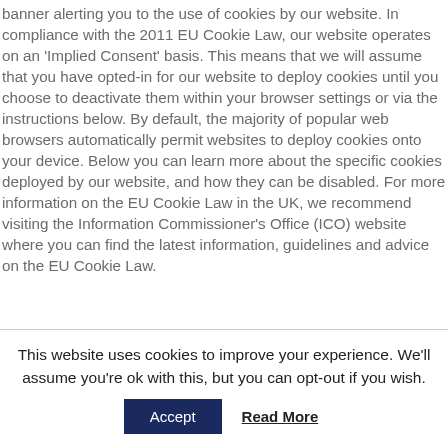banner alerting you to the use of cookies by our website. In compliance with the 2011 EU Cookie Law, our website operates on an 'Implied Consent' basis. This means that we will assume that you have opted-in for our website to deploy cookies until you choose to deactivate them within your browser settings or via the instructions below. By default, the majority of popular web browsers automatically permit websites to deploy cookies onto your device. Below you can learn more about the specific cookies deployed by our website, and how they can be disabled. For more information on the EU Cookie Law in the UK, we recommend visiting the Information Commissioner's Office (ICO) website where you can find the latest information, guidelines and advice on the EU Cookie Law.
This website uses cookies to improve your experience. We'll assume you're ok with this, but you can opt-out if you wish.